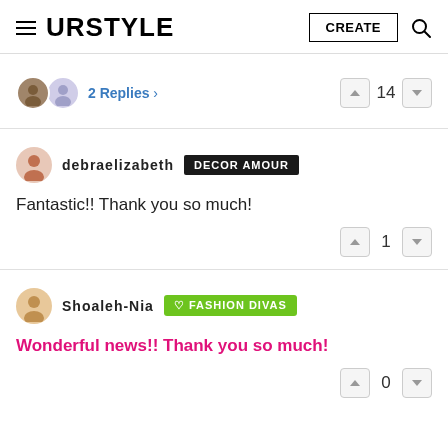URSTYLE | CREATE
2 Replies › | 14
debraelizabeth DECOR AMOUR
Fantastic!! Thank you so much! | 1
Shoaleh-Nia ♡ FASHION DIVAS
Wonderful news!! Thank you so much! | 0